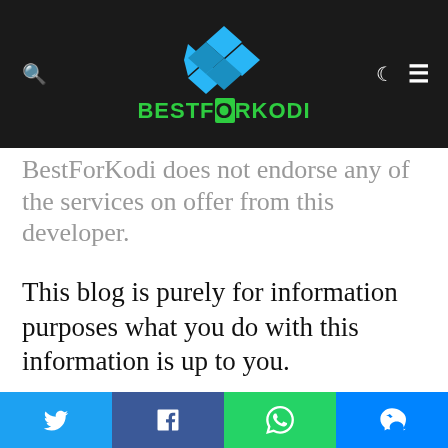[Figure (logo): BestForKodi logo with blue diamond Kodi icon above green bold text BESTFORKODI on dark background header]
BestForKodi does not endorse any of the services on offer from this developer.
This blog is purely for information purposes what you do with this information is up to you.
BestForKodi is not responsible for the copyright, legality of